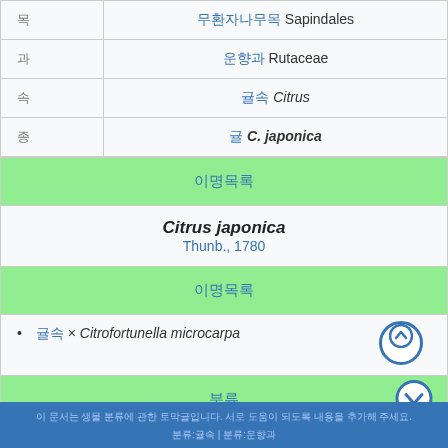|  |  |
| --- | --- |
| 目 | 무환자나무목 Sapindales |
| 科 | 운향과 Rutaceae |
| 属 | 귤속 Citrus |
| 種 | 귤 C. japonica |
| 이명 |
| Citrus japonica
Thunb., 1780 |
| 이명 |
| 이명 × Citrofortunella microcarpa |
| 분류 |
이 문서는 생물 분류 관련 토막글입니다. 서로 도움이 되도록 내용을 추가해 주세요.
분류:귤속 | 분류:운향과